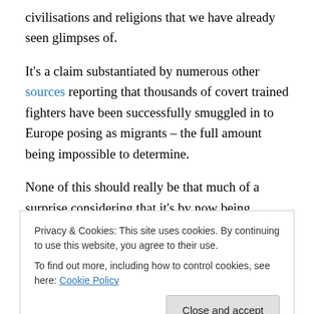civilisations and religions that we have already seen glimpses of.
It's a claim substantiated by numerous other sources reporting that thousands of covert trained fighters have been successfully smuggled in to Europe posing as migrants – the full amount being impossible to determine.
None of this should really be that much of a surprise considering that it's by now being widely reported that it was the USA, Israel and its allies who created Al-Qaeda in the first place.
Privacy & Cookies: This site uses cookies. By continuing to use this website, you agree to their use.
To find out more, including how to control cookies, see here: Cookie Policy
[Close and accept]
much is true. A horrific conspiracy against all of humanity